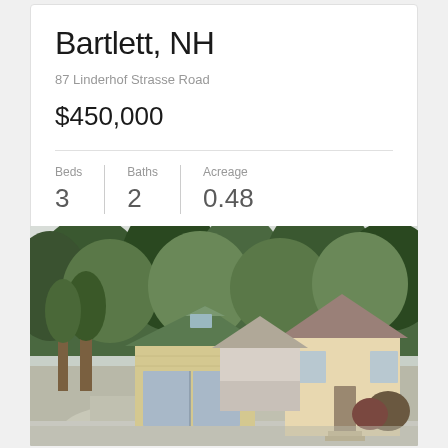Bartlett, NH
87 Linderhof Strasse Road
$450,000
| Beds | Baths | Acreage |
| --- | --- | --- |
| 3 | 2 | 0.48 |
[Figure (photo): Exterior photo of a light yellow New England-style house with a detached garage/barn structure with green roof and white doors, surrounded by tall green trees, with a gravel driveway in the foreground.]